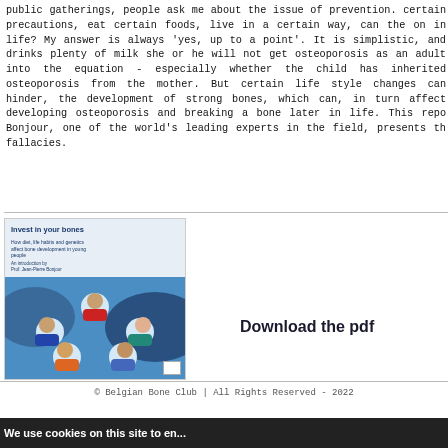public gatherings, people ask me about the issue of prevention. certain precautions, eat certain foods, live in a certain way, can the on in life? My answer is always 'yes, up to a point'. It is simplistic, and drinks plenty of milk she or he will not get osteoporosis as an adult into the equation - especially whether the child has inherited osteoporosis from the mother. But certain life style changes can hinder, the development of strong bones, which can, in turn affect developing osteoporosis and breaking a bone later in life. This repo Bonjour, one of the world's leading experts in the field, presents th fallacies.
[Figure (illustration): Book cover of 'Invest in your bones' publication showing young people looking down at the camera from above, with a blue sky background]
Download the pdf
© Belgian Bone Club | All Rights Reserved - 2022